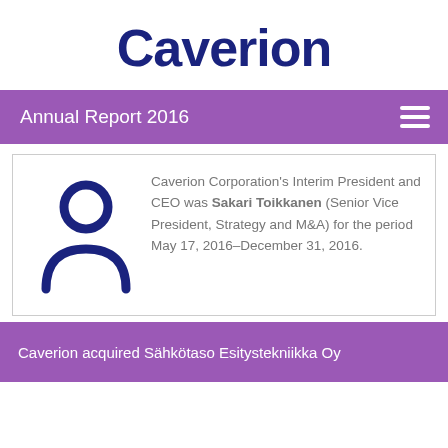[Figure (logo): Caverion company logo in dark navy blue, large bold text]
Annual Report 2016
[Figure (illustration): Dark navy blue person/profile icon silhouette]
Caverion Corporation's Interim President and CEO was Sakari Toikkanen (Senior Vice President, Strategy and M&A) for the period May 17, 2016–December 31, 2016.
Caverion acquired Sähkötaso Esitystekniikka Oy